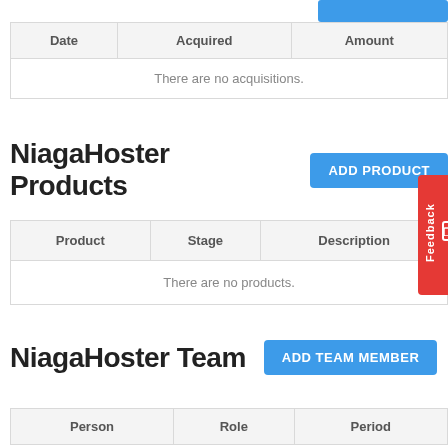| Date | Acquired | Amount |
| --- | --- | --- |
| There are no acquisitions. |
NiagaHoster Products
| Product | Stage | Description |
| --- | --- | --- |
| There are no products. |
NiagaHoster Team
| Person | Role | Period |
| --- | --- | --- |